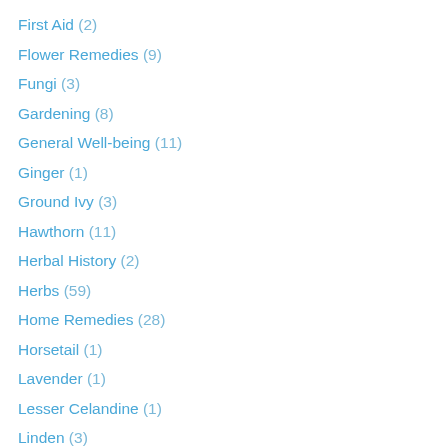First Aid (2)
Flower Remedies (9)
Fungi (3)
Gardening (8)
General Well-being (11)
Ginger (1)
Ground Ivy (3)
Hawthorn (11)
Herbal History (2)
Herbs (59)
Home Remedies (28)
Horsetail (1)
Lavender (1)
Lesser Celandine (1)
Linden (3)
Marjoram + Oregano (1)
Meadowsweet (1)
Medicine Making Guides (10)
Melissa (1)
Milk Thistle (1)